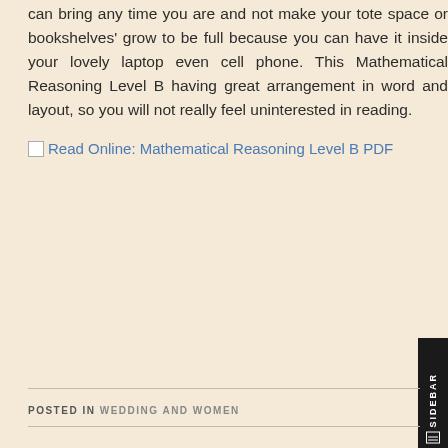can bring any time you are and not make your tote space or bookshelves' grow to be full because you can have it inside your lovely laptop even cell phone. This Mathematical Reasoning Level B having great arrangement in word and layout, so you will not really feel uninterested in reading.
[Figure (other): Broken image icon followed by link text: Read Online: Mathematical Reasoning Level B PDF]
POSTED IN WEDDING AND WOMEN
Macavity Mystery Possum Picture Books PDF 5ab809f4f